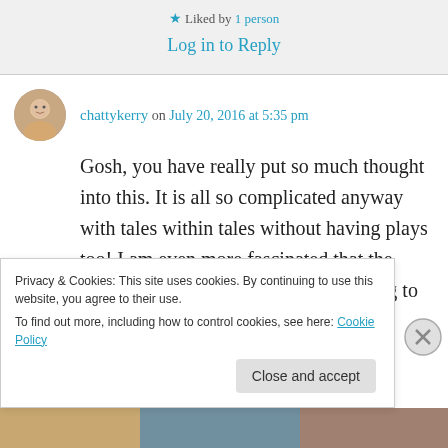★ Liked by 1 person
Log in to Reply
chattykerry on July 20, 2016 at 5:35 pm
Gosh, you have really put so much thought into this. It is all so complicated anyway with tales within tales without having plays too! I am even more fascinated that the young man who played Joffrey is going to study Theology – that will
Privacy & Cookies: This site uses cookies. By continuing to use this website, you agree to their use.
To find out more, including how to control cookies, see here: Cookie Policy
Close and accept